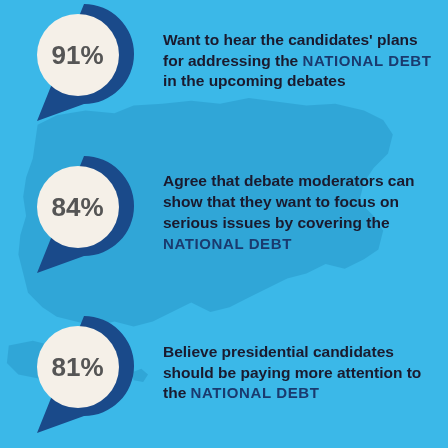[Figure (infographic): Infographic with light blue background and faint US map silhouette. Three teardrop/pin shapes in dark blue, each containing a beige circle with a percentage. Row 1: 91% - Want to hear the candidates' plans for addressing the NATIONAL DEBT in the upcoming debates. Row 2: 84% - Agree that debate moderators can show that they want to focus on serious issues by covering the NATIONAL DEBT. Row 3: 81% - Believe presidential candidates should be paying more attention to the NATIONAL DEBT.]